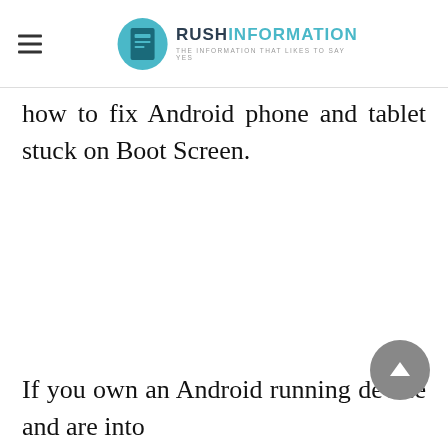RUSH INFORMATION — THE INFORMATION THAT LIKES TO SAY YES
how to fix Android phone and tablet stuck on Boot Screen.
If you own an Android running device and are into